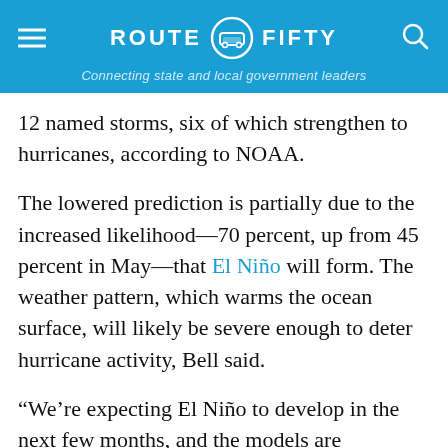ROUTE FIFTY — Connecting state and local government leaders
12 named storms, six of which strengthen to hurricanes, according to NOAA.
The lowered prediction is partially due to the increased likelihood—70 percent, up from 45 percent in May—that El Niño will form. The weather pattern, which warms the ocean surface, will likely be severe enough to deter hurricane activity, Bell said.
“We’re expecting El Niño to develop in the next few months, and the models are predicting that it will become strong enough to suppress the